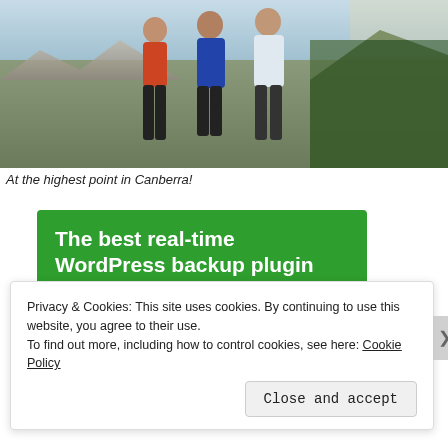[Figure (photo): Three people standing together at what appears to be a high rocky outdoor location in Canberra, wearing athletic/running clothes. Rocky terrain and trees visible in background.]
At the highest point in Canberra!
[Figure (infographic): Green advertisement banner reading 'The best real-time WordPress backup plugin' with a white button labeled 'Back up your site']
Privacy & Cookies: This site uses cookies. By continuing to use this website, you agree to their use.
To find out more, including how to control cookies, see here: Cookie Policy
Close and accept